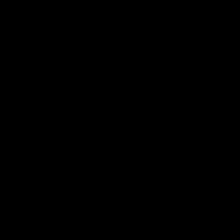5 great reasons the world needs to kn…
Friday, August 4th, 2017
A celestial romance and true story of disco… Henrietta Swan Leavitt (1868-1921) as sh… dominated world of early astronomy. Hired… “computer” to catalog the stars, He… landscape of early feminism […]
Posted in Uncategorized | No Comments
A peek at the process behind our Fre…
Friday, August 4th, 2017
Arts Education is a very important part of… One of the many educational programs w… series. This series features 1-hour perform… and younger children. Made possible in p…
Posted in Uncategorized | No Comments
Meet the cast of International City T…